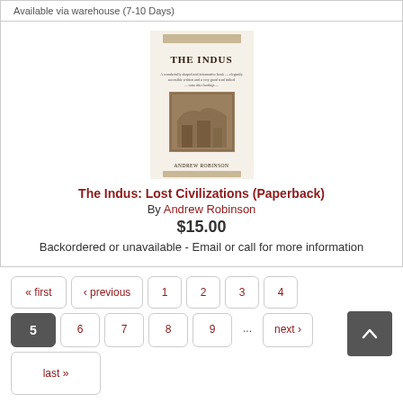Available via warehouse (7-10 Days)
[Figure (illustration): Book cover for 'The Indus: Lost Civilizations' by Andrew Robinson — cream/beige cover with title 'THE INDUS' and an archaeological image]
The Indus: Lost Civilizations (Paperback)
By Andrew Robinson
$15.00
Backordered or unavailable - Email or call for more information
« first
‹ previous
1
2
3
4
5 (current page)
6
7
8
9
...
next ›
last »